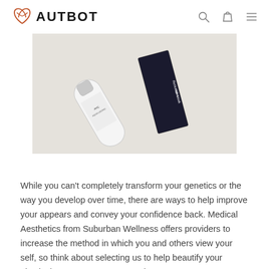AUTBOT
[Figure (photo): Two beauty/hair product tubes — a white squeeze tube and a dark rectangular box labeled 'Restorative Hair Mask' — arranged on a light beige background.]
While you can't completely transform your genetics or the way you develop over time, there are ways to help improve your appears and convey your confidence back. Medical Aesthetics from Suburban Wellness offers providers to increase the method in which you and others view your self, so think about selecting us to help beautify your physical appearance. Botox works